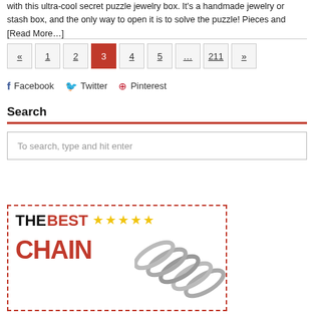with this ultra-cool secret puzzle jewelry box. It's a handmade jewelry or stash box, and the only way to open it is to solve the puzzle! Pieces and [Read More…]
« 1 2 3 4 5 … 211 »
Facebook  Twitter  Pinterest
Search
To search, type and hit enter
[Figure (infographic): Banner ad with text: THE BEST (with 5 stars) CHAIN, with a chain image on the right, red dashed border]